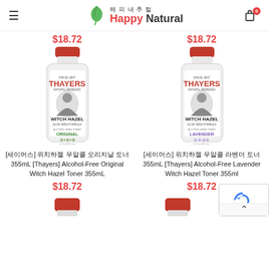Happy Natural 해피내추럴
$18.72
$18.72
[Figure (photo): Thayers Witch Hazel Aloe Vera Formula Alcohol-Free Original Toner 355mL bottle with red cap]
[Figure (photo): Thayers Witch Hazel Aloe Vera Formula Alcohol-Free Lavender Toner 355mL bottle with red cap]
[세이어스] 위치하젤 무알콜 오리지날 토너 355mL [Thayers] Alcohol-Free Original Witch Hazel Toner 355mL
[세이어스] 위치하젤 무알콜 라벤더 토너 355mL [Thayers] Alcohol-Free Lavender Witch Hazel Toner 355ml
$18.72
$18.72